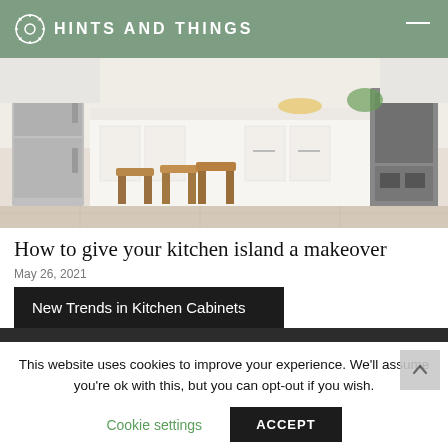HINTS AND THINGS
[Figure (photo): Bright white modern kitchen with a large island counter, four wooden bar stools, stainless steel refrigerator and oven, white cabinetry.]
How to give your kitchen island a makeover
May 26, 2021
New Trends in Kitchen Cabinets
This website uses cookies to improve your experience. We'll assume you're ok with this, but you can opt-out if you wish.
Cookie settings   ACCEPT